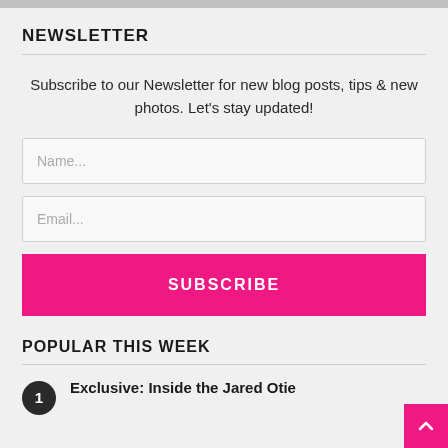NEWSLETTER
Subscribe to our Newsletter for new blog posts, tips & new photos. Let's stay updated!
Name...
Email...
SUBSCRIBE
POPULAR THIS WEEK
1 Exclusive: Inside the Jared Otie…